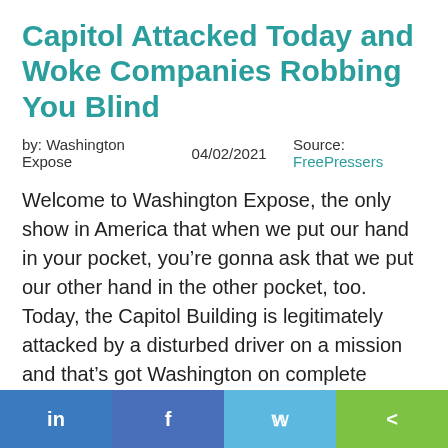Capitol Attacked Today and Woke Companies Robbing You Blind
by: Washington Expose   04/02/2021   Source: FreePressers
Welcome to Washington Expose, the only show in America that when we put our hand in your pocket, you’re gonna ask that we put our other hand in the other pocket, too. Today, the Capitol Building is legitimately attacked by a disturbed driver on a mission and that’s got Washington on complete lockdown. We’re monitoring what’s happening behind the scenes and will continue to keep our viewers apprised. Meanwhile, while Pelosi continues to enrage Americans by keeping the Capitol Building on lockdown, woke companies are stealing in the name of woke